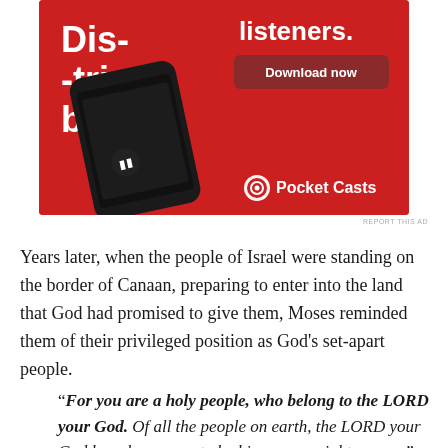[Figure (illustration): Pocket Casts advertisement banner with red background showing a smartphone displaying a podcast app interface. Text reads 'Distributed', 'listeners.', 'Download now', and 'Pocket Casts' logo at bottom right.]
REPORT THIS AD
Years later, when the people of Israel were standing on the border of Canaan, preparing to enter into the land that God had promised to give them, Moses reminded them of their privileged position as God's set-apart people.
“For you are a holy people, who belong to the LORD your God. Of all the people on earth, the LORD your God has chosen you to be his own special treasure."